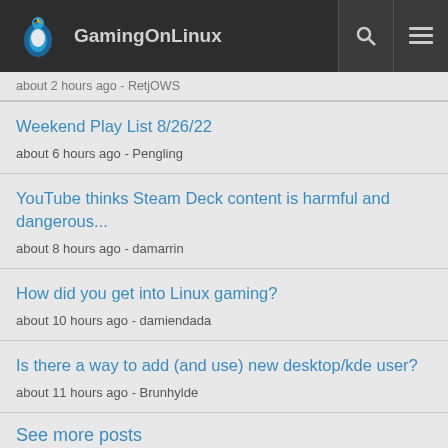GamingOnLinux
about 2 hours ago - RetjOWS
Weekend Play List 8/26/22
about 6 hours ago - Pengling
YouTube thinks Steam Deck content is harmful and dangerous...
about 8 hours ago - damarrin
How did you get into Linux gaming?
about 10 hours ago - damiendada
Is there a way to add (and use) new desktop/kde user?
about 11 hours ago - Brunhylde
See more posts